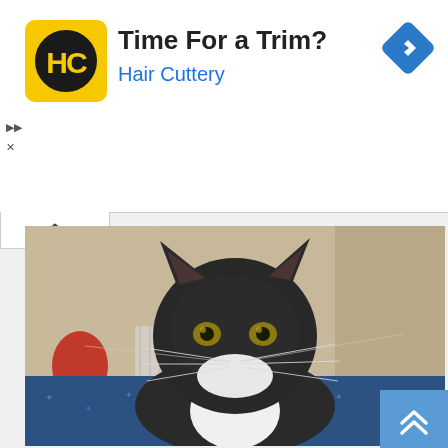[Figure (logo): Hair Cuttery logo — yellow square with HC letters in black circle, black text 'Time For a Trim?' and blue text 'Hair Cuttery', with a blue diamond navigation arrow icon on the right]
[Figure (photo): A tuxedo cat (mostly black with white chest) lying on a blue star-patterned blanket, looking directly at the camera with yellow-green eyes. Room background visible with radiator and objects.]
[Figure (other): Blue scroll-up double chevron button in the bottom right corner]